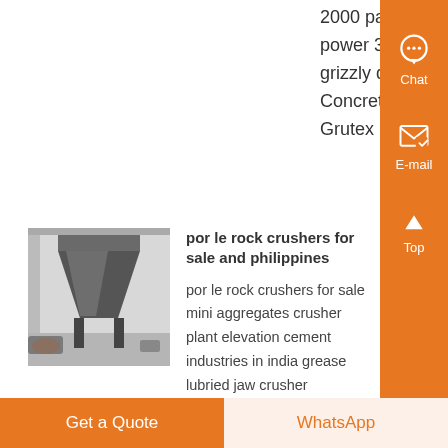2000 parker jaw crusher power 3306 6x13 vibrating grizzly details, Por Le Plants Concrete Crushers Aug Grutex Heavy...
Know More
[Figure (photo): Industrial crusher equipment inside a facility, showing large conical hopper machinery.]
por le rock crushers for sale and philippines
por le rock crushers for sale mini aggregates crusher plant elevation cement industries in india grease lubried jaw crusher tamilnadu china new product machine fine pulverizer stone
Get a Quote
WhatsApp